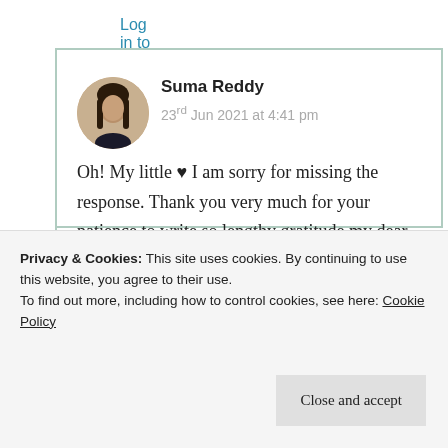Log in to Reply
[Figure (photo): Circular avatar photo of Suma Reddy, a woman with long dark hair]
Suma Reddy
23rd Jun 2021 at 4:41 pm
Oh! My little ♥ I am sorry for missing the response. Thank you very much for your patience to write so lengthy gratitude my dear. It's a true pleasure
Privacy & Cookies: This site uses cookies. By continuing to use this website, you agree to their use.
To find out more, including how to control cookies, see here: Cookie Policy
Close and accept